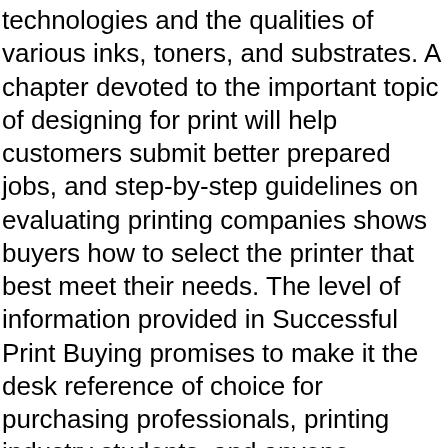technologies and the qualities of various inks, toners, and substrates. A chapter devoted to the important topic of designing for print will help customers submit better prepared jobs, and step-by-step guidelines on evaluating printing companies shows buyers how to select the printer that best meet their needs. The level of information provided in Successful Print Buying promises to make it the desk reference of choice for purchasing professionals, printing industry students, and anyone seeking to maximize the value of their printing dollar. Successful Print Buying: A Guide to Cost-Effective Procurement of Quality Printing (NP 362) is $29.95 for NAPL members; $34.95, non-members. To order, call (800) 642-6275, Option #3; email orders@napl.org ; or go online to NAPL's bookstore at http://store.napl.org . NAPL is committed to helping the graphic arts community succeed within today's highly competitive communications environment. The level of